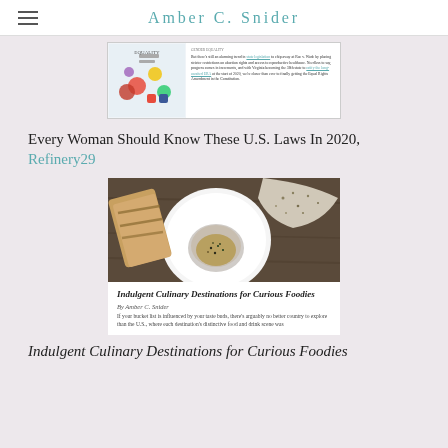Amber C. Snider
[Figure (screenshot): Screenshot of an article with colorful image on left and text on right about women's laws]
Every Woman Should Know These U.S. Laws In 2020, Refinery29
[Figure (photo): Food photo showing a bowl of sauce/dip with grilled bread and fish on a dark wooden surface]
Indulgent Culinary Destinations for Curious Foodies
By Amber C. Snider
If your bucket list is influenced by your taste buds, there's arguably no better country to explore than the U.S., where each destination's distinctive food and drink scene was...
Indulgent Culinary Destinations for Curious Foodies